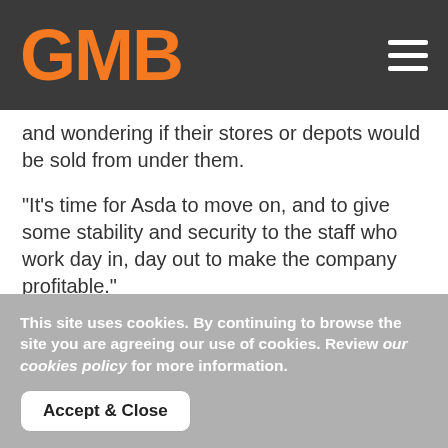GMB
and wondering if their stores or depots would be sold from under them.
"It's time for Asda to move on, and to give some stability and security to the staff who work day in, day out to make the company profitable."
Share the news
This site uses cookies. By continuing to browse the site you are agreeing our use of cookies. Review our cookies policy for more information.
Accept & Close